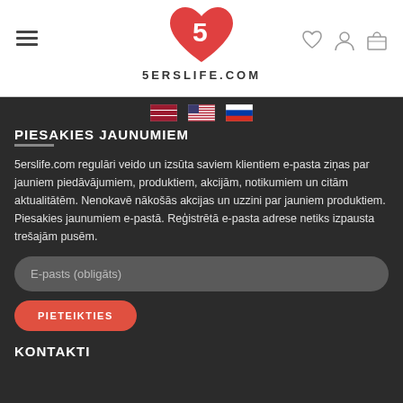[Figure (logo): 5erslife.com logo with red heart containing number 5 and text 5ERSLIFE.COM below]
[Figure (other): Three flag icons: Latvian, US, Russian flags in a row]
PIESAKIES JAUNUMIEM
5erslife.com regulāri veido un izsūta saviem klientiem e-pasta ziņas par jauniem piedāvājumiem, produktiem, akcijām, notikumiem un citām aktualitātēm. Nenokavē nākošās akcijas un uzzini par jauniem produktiem. Piesakies jaunumiem e-pastā. Reģistrētā e-pasta adrese netiks izpausta trešajām pusēm.
E-pasts (obligāts)
PIETEIKTIES
KONTAKTI